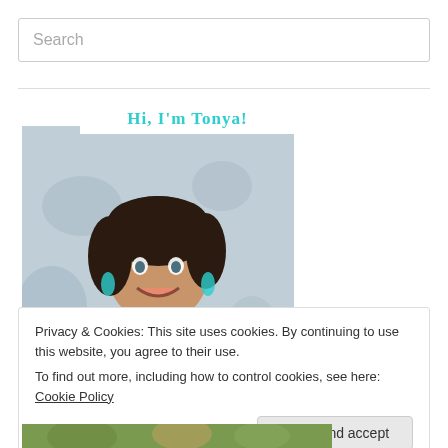Search
[Figure (photo): Hi, I'm Tonya! banner and photo of a smiling woman with dark curly hair, wearing a colorful shawl, standing against a textured wall.]
Privacy & Cookies: This site uses cookies. By continuing to use this website, you agree to their use.
To find out more, including how to control cookies, see here: Cookie Policy
Close and accept
[Figure (photo): Partial photo at the bottom showing people outdoors.]